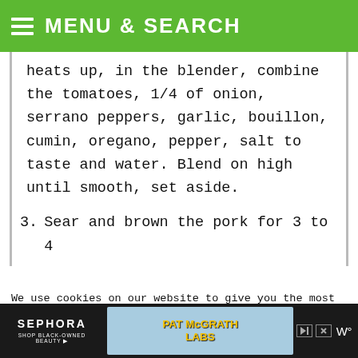MENU & SEARCH
heats up, in the blender, combine the tomatoes, 1/4 of onion, serrano peppers, garlic, bouillon, cumin, oregano, pepper, salt to taste and water. Blend on high until smooth, set aside.
3. Sear and brown the pork for 3 to 4
We use cookies on our website to give you the most relevant experience by remembering your preferences and repeat visits. By clicking “Accept”, you consent to the use of ALL the cookies.
Do not sell my personal information
[Figure (screenshot): Advertisement banner with Sephora and Pat McGrath Labs ads on dark background]